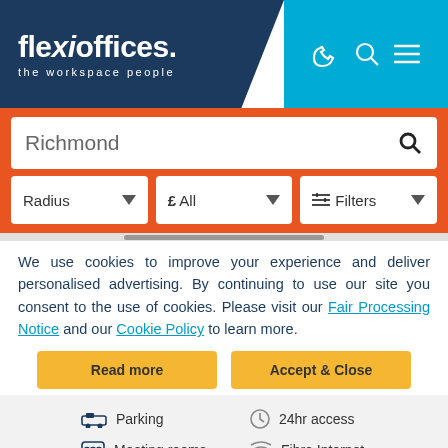[Figure (logo): Flexioffices logo - 'flexioffices. the workspace people' on dark navy background]
[Figure (screenshot): Search interface with Richmond search box, Radius dropdown, £ All dropdown, and Filters dropdown on orange background]
We use cookies to improve your experience and deliver personalised advertising. By continuing to use our site you consent to the use of cookies. Please visit our Fair Processing Notice and our Cookie Policy to learn more.
Parking
24hr access
Meeting rooms
Fibre Internet
Air conditioning
Reception